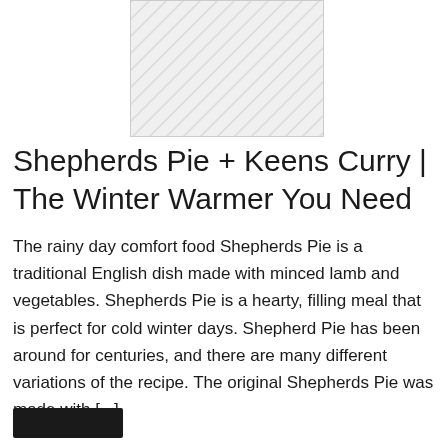[Figure (photo): Placeholder image with diagonal stripe pattern, light grey background]
Shepherds Pie + Keens Curry | The Winter Warmer You Need
The rainy day comfort food Shepherds Pie is a traditional English dish made with minced lamb and vegetables. Shepherds Pie is a hearty, filling meal that is perfect for cold winter days. Shepherd Pie has been around for centuries, and there are many different variations of the recipe. The original Shepherds Pie was made with [...]